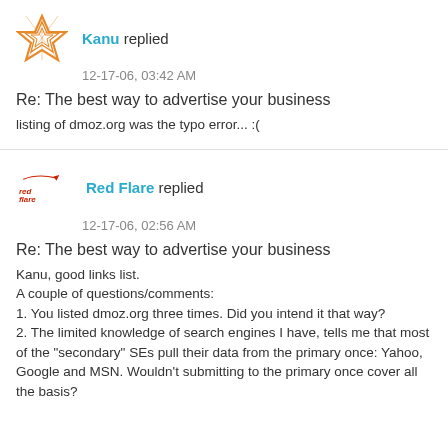[Figure (logo): Kanu user avatar — orange star/pentagon web icon]
Kanu replied
12-17-06, 03:42 AM
Re: The best way to advertise your business
listing of dmoz.org was the typo error... :(
[Figure (logo): Red Flare user avatar — red flare logo text]
Red Flare replied
12-17-06, 02:56 AM
Re: The best way to advertise your business
Kanu, good links list.
A couple of questions/comments:
1. You listed dmoz.org three times. Did you intend it that way?
2. The limited knowledge of search engines I have, tells me that most of the "secondary" SEs pull their data from the primary once: Yahoo, Google and MSN. Wouldn't submitting to the primary once cover all the basis?